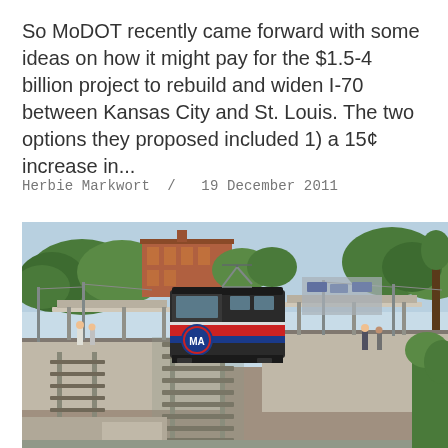So MoDOT recently came forward with some ideas on how it might pay for the $1.5-4 billion project to rebuild and widen I-70 between Kansas City and St. Louis. The two options they proposed included 1) a 15¢ increase in...
Herbie Markwort  /  19 December 2011
[Figure (photo): Aerial/elevated view of a MetroLink light rail train at a station platform. The train has red, white, and blue livery with 'MA' logo visible. The station has canopies, platforms, and overhead electric catenary poles. Trees and a brick building are visible in the background.]